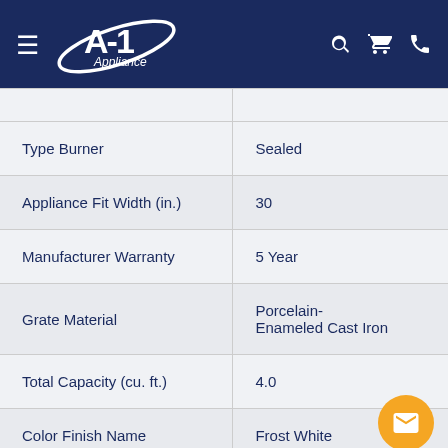A-1 Appliance
| Specification | Value |
| --- | --- |
| Type Burner | Sealed |
| Appliance Fit Width (in.) | 30 |
| Manufacturer Warranty | 5 Year |
| Grate Material | Porcelain-Enameled Cast Iron |
| Total Capacity (cu. ft.) | 4.0 |
| Color Finish Name | Frost White |